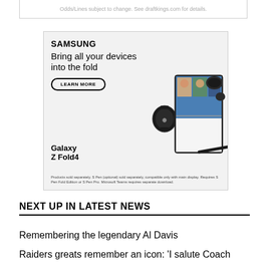Odds/Lines subject to change. See draftkings.com for details.
[Figure (illustration): Samsung advertisement for Galaxy Z Fold4. Shows Samsung logo, headline 'Bring all your devices into the fold', a 'LEARN MORE' button, images of a smartwatch, foldable phone with video call on screen, earbuds, and a stylus. Text reads 'Galaxy Z Fold4'. Fine print: 'Products sold separately. S Pen (optional) sold separately, compatible only with main display. Requires S Pen Fold Edition or S Pen Pro. Microsoft Teams requires separate download.']
NEXT UP IN LATEST NEWS
Remembering the legendary Al Davis
Raiders greats remember an icon: 'I salute Coach